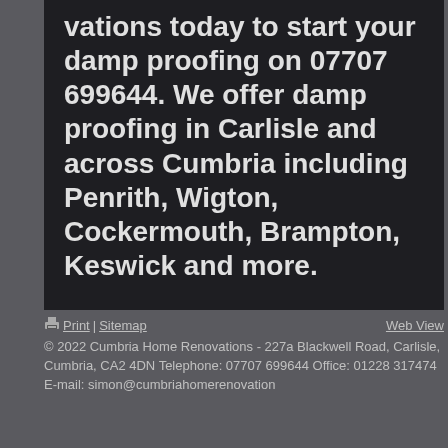vations today to start your damp proofing on 07707 699644. We offer damp proofing in Carlisle and across Cumbria including Penrith, Wigton, Cockermouth, Brampton, Keswick and more.
Print | Sitemap   Web View
© 2022 Cumbria Home Renovations - 227a Blackwell Road, Carlisle, Cumbria, CA2 4DN Telephone: 07707 699644 Office: 01228 317474 E-mail: simon@cumbriahomerenovation